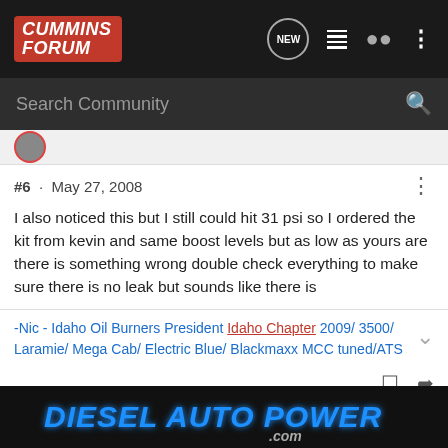Cummins Forum
Search Community
#6 · May 27, 2008
I also noticed this but I still could hit 31 psi so I ordered the kit from kevin and same boost levels but as low as yours are there is something wrong double check everything to make sure there is no leak but sounds like there is
-Nic - Idaho Oil Burners President Idaho Chapter 2009/ 3500/ Laramie/ Mega Cab/ Electric Blue/ Blackmaxx MCC tuned/ATS
[Figure (screenshot): Diesel Auto Power .com advertisement banner with blue glowing text on dark background]